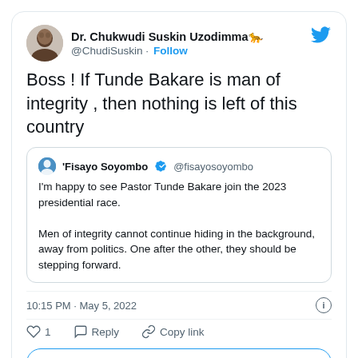Dr. Chukwudi Suskin Uzodimma 🐆 @ChudiSuskin · Follow
Boss ! If Tunde Bakare is man of integrity , then nothing is left of this country
'Fisayo Soyombo ✓ @fisayosoyombo
I'm happy to see Pastor Tunde Bakare join the 2023 presidential race.

Men of integrity cannot continue hiding in the background, away from politics. One after the other, they should be stepping forward.
10:15 PM · May 5, 2022
1  Reply  Copy link
Explore what's happening on Twitter